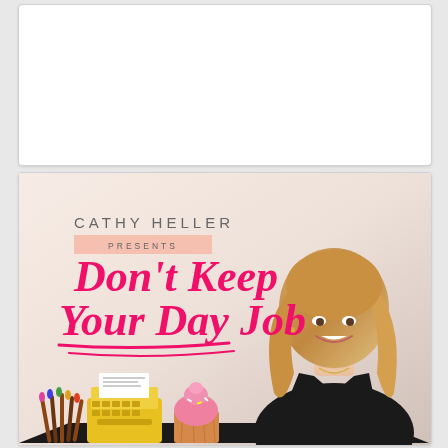[Figure (photo): Top card partially visible, white background card at top of page]
[Figure (illustration): Podcast cover art for 'Cathy Heller Presents Don't Keep Your Day Job' featuring a smiling blonde woman in a black top, pink cursive title text, yellow typewriter, cupcake, and art brushes on a warm beige/pink gradient background]